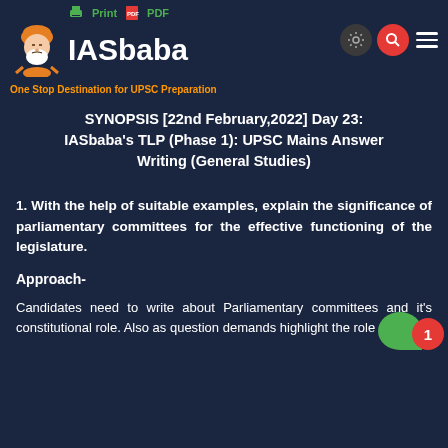IASbaba — One Stop Destination for UPSC Preparation
SYNOPSIS [22nd February,2022] Day 23: IASbaba's TLP (Phase 1): UPSC Mains Answer Writing (General Studies)
1. With the help of suitable examples, explain the significance of parliamentary committees for the effective functioning of the legislature.
Approach-
Candidates need to write about Parliamentary committees and it's constitutional role. Also as question demands highlight the role of PSC